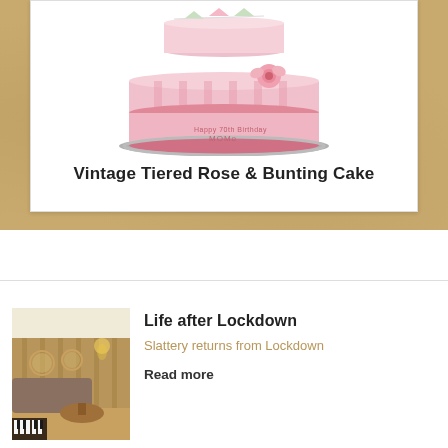[Figure (photo): Pink vintage tiered birthday cake with rose and bunting decoration, white background, shown in a product card]
Vintage Tiered Rose & Bunting Cake
[Figure (photo): Interior of a restaurant/cafe with wooden panelling, round mirrors, booth seating, a piano, and warm lighting on wooden floor]
Life after Lockdown
Slattery returns from Lockdown
Read more